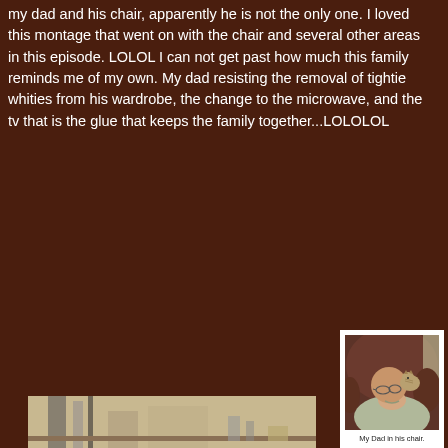my dad and his chair, apparently he is not the only one.  I loved this montage that went on with the chair and several other areas in this episode.    LOLOL I can not get past how much this family reminds me of my own.  My dad resisting the removal of tightie whities from his wardrobe, the change to the microwave, and the tv that is the glue that keeps the family together...LOLOLOL
[Figure (photo): An elderly bald man wearing glasses and a light green polo shirt, reclining in a dark brown leather chair. A small tabby kitten is resting on his shoulder/chest area. The photo has a white border like a printed photo.]
My Dad in his chair.
[Figure (photo): Partial view of what appears to be a kitchen or dining area, showing some furniture and countertop items. Only the top portion is visible as the image is cut off at the bottom of the page.]